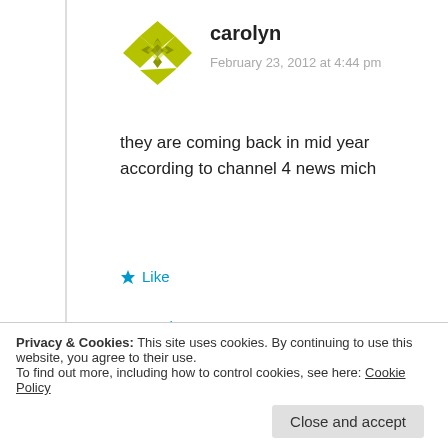[Figure (illustration): Green geometric/quilt-pattern avatar for user carolyn]
carolyn
February 23, 2012 at 4:44 pm
they are coming back in mid year according to channel 4 news mich
Like
Reply
[Figure (illustration): Green geometric avatar partially visible for second commenter]
Privacy & Cookies: This site uses cookies. By continuing to use this website, you agree to their use.
To find out more, including how to control cookies, see here: Cookie Policy
Close and accept
excedrin will be back mid year